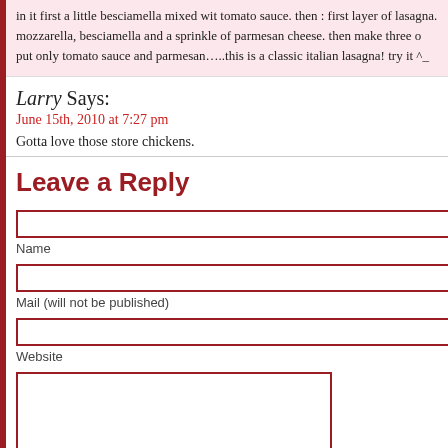in it first a little besciamella mixed wit tomato sauce. then : first layer of lasagna. mozzarella, besciamella and a sprinkle of parmesan cheese. then make three o... put only tomato sauce and parmesan…..this is a classic italian lasagna! try it ^_
Larry Says:
June 15th, 2010 at 7:27 pm
Gotta love those store chickens.
Leave a Reply
Name
Mail (will not be published)
Website